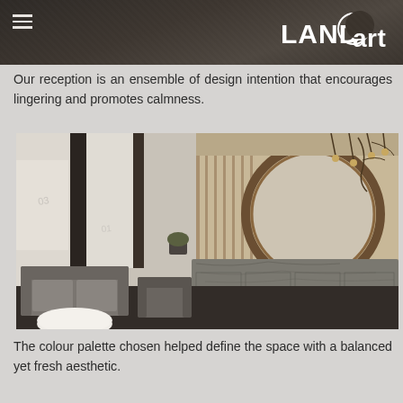LANDART (logo with hamburger menu)
Our reception is an ensemble of design intention that encourages lingering and promotes calmness.
[Figure (photo): Interior render of a modern reception area featuring a large round mirror, wooden slat wall paneling, marble reception desk, grey sofas and armchairs, white round coffee table, floor-to-ceiling windows with natural light, and decorative pendant lighting.]
The colour palette chosen helped define the space with a balanced yet fresh aesthetic.